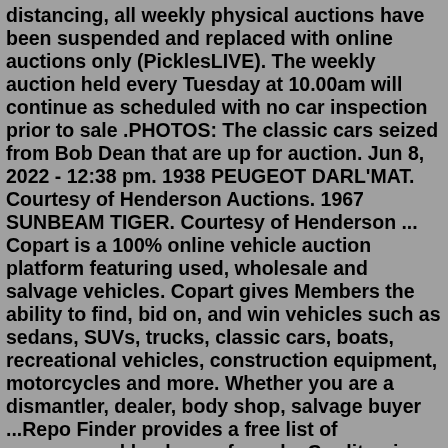distancing, all weekly physical auctions have been suspended and replaced with online auctions only (PicklesLIVE). The weekly auction held every Tuesday at 10.00am will continue as scheduled with no car inspection prior to sale .PHOTOS: The classic cars seized from Bob Dean that are up for auction. Jun 8, 2022 - 12:38 pm. 1938 PEUGEOT DARL'MAT. Courtesy of Henderson Auctions. 1967 SUNBEAM TIGER. Courtesy of Henderson ... Copart is a 100% online vehicle auction platform featuring used, wholesale and salvage vehicles. Copart gives Members the ability to find, bid on, and win vehicles such as sedans, SUVs, trucks, classic cars, boats, recreational vehicles, construction equipment, motorcycles and more. Whether you are a dismantler, dealer, body shop, salvage buyer ...Repo Finder provides a free list of repossessed bank cars for sale. Credit union repossessed cars, credit union repo trucks, repo motorcycles, repo RV's and repo ATV's lists among other repo sales service lists online. ... Many repossessions end up at "dealer only" auctions,